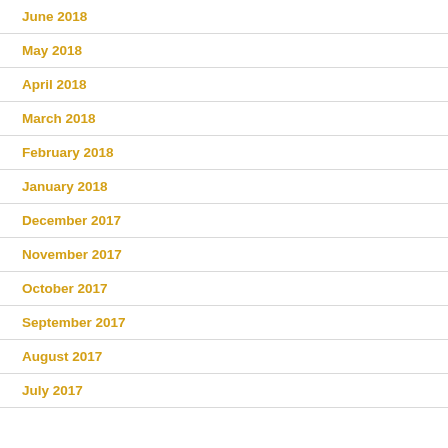June 2018
May 2018
April 2018
March 2018
February 2018
January 2018
December 2017
November 2017
October 2017
September 2017
August 2017
July 2017